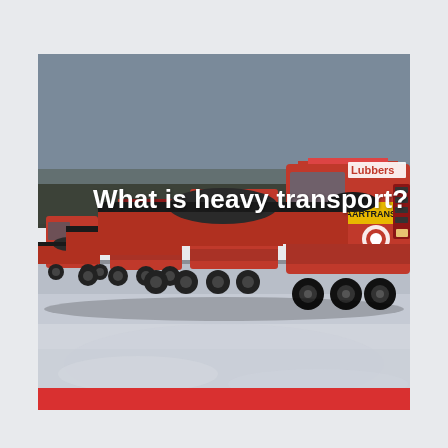[Figure (photo): A convoy of red Lubbers heavy transport trucks carrying large pipes/tubes on flatbed trailers, driving on a snowy winter road with bare trees in the background. The trucks have 'Lubbers' branding and 'ZWAARTRANSPORT' text visible. A red horizontal bar appears at the bottom of the image.]
What is heavy transport?